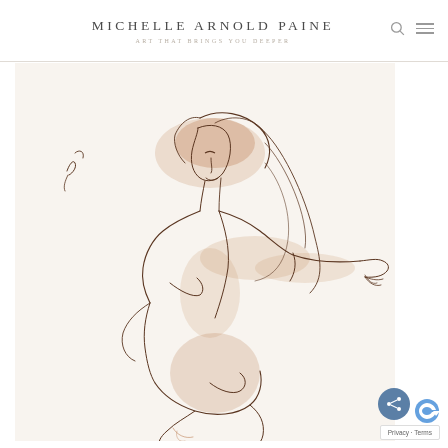MICHELLE ARNOLD PAINE — ART THAT BRINGS YOU DEEPER
[Figure (illustration): Line and wash drawing of a seated female figure with long flowing hair, reaching arms extended forward, done in brown ink and sepia watercolor wash on cream paper. The figure is rendered in an expressive gestural style with minimal detail.]